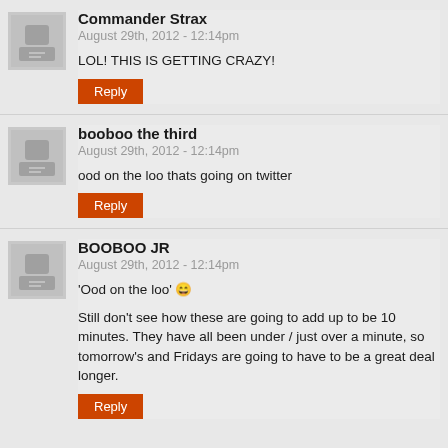Commander Strax
August 29th, 2012 - 12:14pm
LOL! THIS IS GETTING CRAZY!
Reply
booboo the third
August 29th, 2012 - 12:14pm
ood on the loo thats going on twitter
Reply
BOOBOO JR
August 29th, 2012 - 12:14pm
'Ood on the loo' 😄
Still don't see how these are going to add up to be 10 minutes. They have all been under / just over a minute, so tomorrow's and Fridays are going to have to be a great deal longer.
Reply